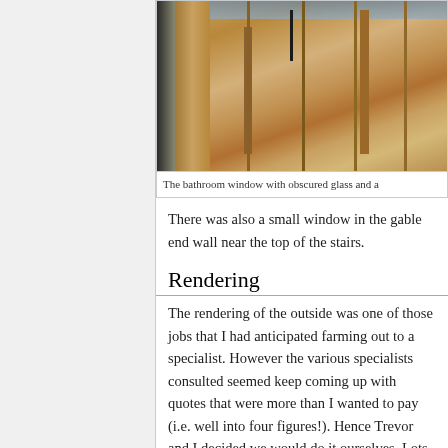[Figure (photo): Photo of a bathroom window with wooden frame/boards visible, partially cut off on right side]
The bathroom window with obscured glass and a
There was also a small window in the gable end wall near the top of the stairs.
Rendering
The rendering of the outside was one of those jobs that I had anticipated farming out to a specialist. However the various specialists consulted seemed keep coming up with quotes that were more than I wanted to pay (i.e. well into four figures!). Hence Trevor and I decided we would do it ourselves. Lots of sand and